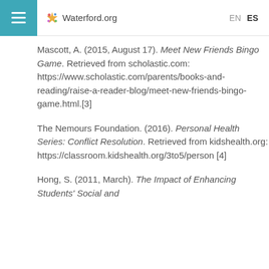Waterford.org  EN  ES
Mascott, A. (2015, August 17). Meet New Friends Bingo Game. Retrieved from scholastic.com: https://www.scholastic.com/parents/books-and-reading/raise-a-reader-blog/meet-new-friends-bingo-game.html.[3]
The Nemours Foundation. (2016). Personal Health Series: Conflict Resolution. Retrieved from kidshealth.org: https://classroom.kidshealth.org/3to5/person[4]
Hong, S. (2011, March). The Impact of Enhancing Students' Social and